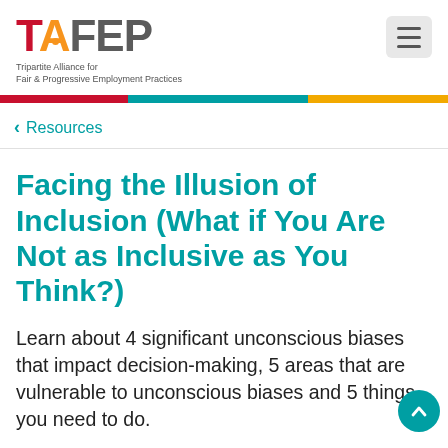[Figure (logo): TAFEP logo - Tripartite Alliance for Fair & Progressive Employment Practices]
Resources
Facing the Illusion of Inclusion (What if You Are Not as Inclusive as You Think?)
Learn about 4 significant unconscious biases that impact decision-making, 5 areas that are vulnerable to unconscious biases and 5 things you need to do.
24 May 2019  |  Articles  |  Recruitment  |  Best practices